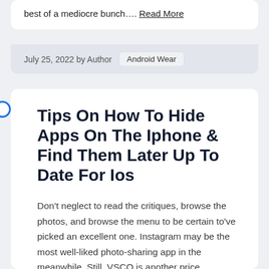best of a mediocre bunch…. Read More
July 25, 2022 by Author   Android Wear
Tips On How To Hide Apps On The Iphone & Find Them Later Up To Date For Ios
Don't neglect to read the critiques, browse the photos, and browse the menu to be certain to've picked an excellent one. Instagram may be the most well-liked photo-sharing app in the meanwhile. Still, VSCO is another price attempting if picture-perfect social sharing is something you really dig. It's designed to assist